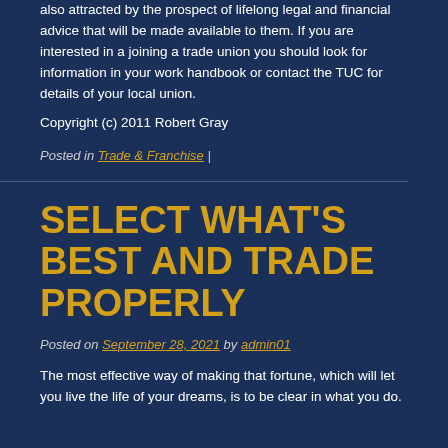also attracted by the prospect of lifelong legal and financial advice that will be made available to them. If you are interested in a joining a trade union you should look for information in your work handbook or contact the TUC for details of your local union.
Copyright (c) 2011 Robert Gray
Posted in Trade & Franchise |
SELECT WHAT'S BEST AND TRADE PROPERLY
Posted on September 28, 2021 by admin01
The most effective way of making that fortune, which will let you live the life of your dreams, is to be clear in what you do.